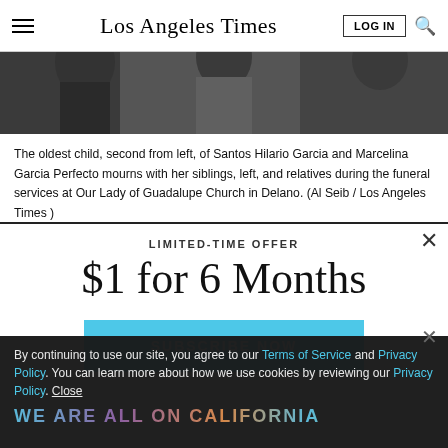Los Angeles Times
[Figure (photo): Partial view of funeral attendees, cropped at top]
The oldest child, second from left, of Santos Hilario Garcia and Marcelina Garcia Perfecto mourns with her siblings, left, and relatives during the funeral services at Our Lady of Guadalupe Church in Delano. (Al Seib / Los Angeles Times )
LIMITED-TIME OFFER
$1 for 6 Months
SUBSCRIBE NOW
By continuing to use our site, you agree to our Terms of Service and Privacy Policy. You can learn more about how we use cookies by reviewing our Privacy Policy. Close